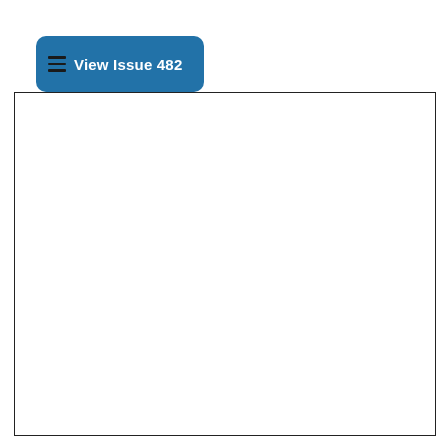View Issue 482
[Figure (other): Empty white content box with thin black border]